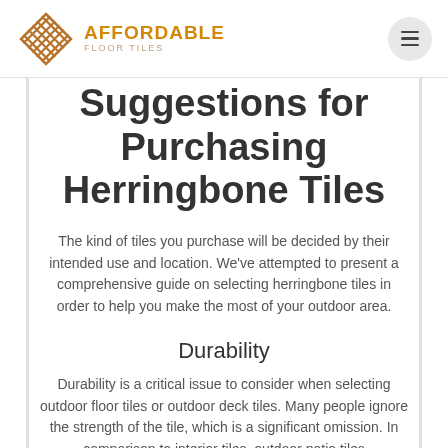AFFORDABLE
Suggestions for Purchasing Herringbone Tiles
The kind of tiles you purchase will be decided by their intended use and location. We've attempted to present a comprehensive guide on selecting herringbone tiles in order to help you make the most of your outdoor area.
Durability
Durability is a critical issue to consider when selecting outdoor floor tiles or outdoor deck tiles. Many people ignore the strength of the tile, which is a significant omission. In comparison to interior tiles, outdoor patio tiles